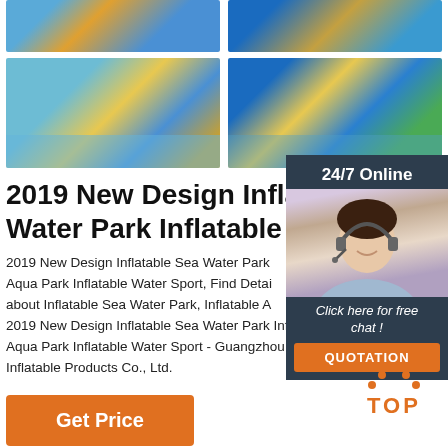[Figure (photo): Two rows of inflatable water park photos showing children playing on colorful blue and yellow inflatable structures]
2019 New Design Inflatable Water Park Inflatable
2019 New Design Inflatable Sea Water Park Aqua Park Inflatable Water Sport, Find Details about Inflatable Sea Water Park, Inflatable Aqua 2019 New Design Inflatable Sea Water Park Inflatable Aqua Park Inflatable Water Sport - Guangzhou Caixin Inflatable Products Co., Ltd.
[Figure (photo): Customer service agent with headset, 24/7 Online support panel with Click here for free chat and QUOTATION button]
Get Price
[Figure (logo): TOP logo in orange with dots above]
Click here for free chat !
QUOTATION